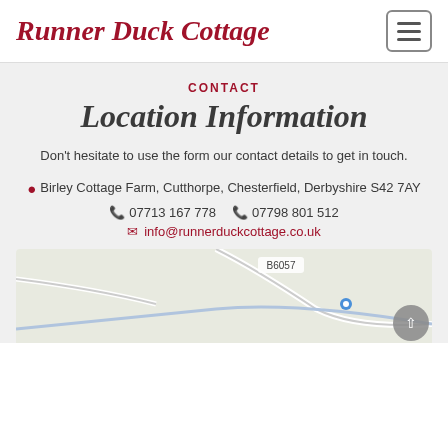Runner Duck Cottage
CONTACT
Location Information
Don't hesitate to use the form our contact details to get in touch.
Birley Cottage Farm, Cutthorpe, Chesterfield, Derbyshire S42 7AY
07713 167 778  07798 801 512
info@runnerduckcottage.co.uk
[Figure (map): Google Maps partial view showing B6057 road near Cutthorpe, Chesterfield, Derbyshire]